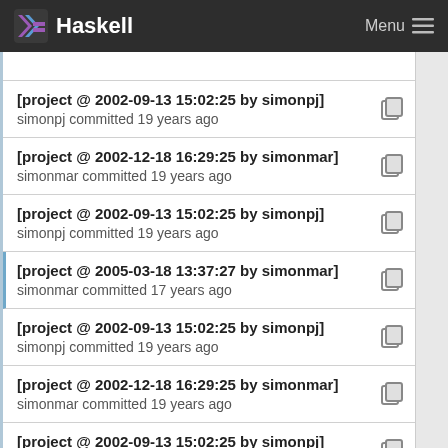Haskell  Menu
[project @ 2002-09-13 15:02:25 by simonpj]
simonpj committed 19 years ago
[project @ 2002-12-18 16:29:25 by simonmar]
simonmar committed 19 years ago
[project @ 2002-09-13 15:02:25 by simonpj]
simonpj committed 19 years ago
[project @ 2005-03-18 13:37:27 by simonmar]
simonmar committed 17 years ago
[project @ 2002-09-13 15:02:25 by simonpj]
simonpj committed 19 years ago
[project @ 2002-12-18 16:29:25 by simonmar]
simonmar committed 19 years ago
[project @ 2002-09-13 15:02:25 by simonpj]
simonpj committed 19 years ago